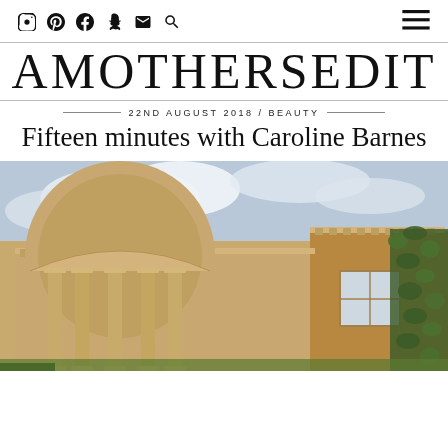[nav icons: instagram, pinterest, facebook, snapchat, email, search] [hamburger menu]
AMOTHERSEDIT
22ND AUGUST 2018 / BEAUTY
Fifteen minutes with Caroline Barnes
[Figure (photo): Exterior of a grand neoclassical stone building with ionic columns, balustraded roofline, and ivy-covered walls under a partly cloudy sky.]